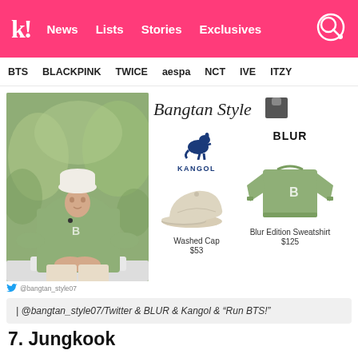k! News | Lists | Stories | Exclusives
BTS | BLACKPINK | TWICE | aespa | NCT | IVE | ITZY
[Figure (photo): Photo of Jungkook wearing a white hat and green Blur Edition sweatshirt, sitting outdoors with greenery behind him]
[Figure (illustration): Bangtan Style logo with hoodie icon]
[Figure (photo): Kangol logo (blue kangaroo) and Washed Cap product image - beige/cream flat cap. Price: $53]
[Figure (photo): Blur Edition Sweatshirt in sage green with B logo. Price: $125]
| @bangtan_style07/Twitter & BLUR & Kangol & "Run BTS!"
7. Jungkook